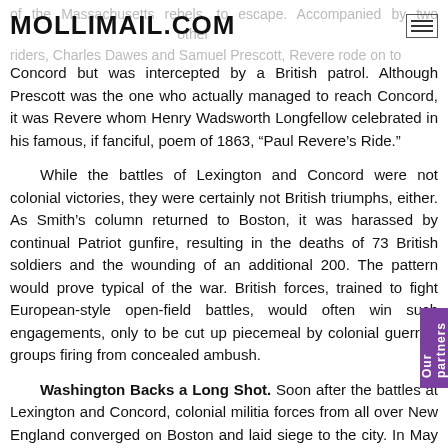MOLLIMAIL.COM
of the Massachusetts rebels, to escape. Accompanied by two other riders, Charles Dawes and Samuel Prescott, Revere rode on to Concord but was intercepted by a British patrol. Although Prescott was the one who actually managed to reach Concord, it was Revere whom Henry Wadsworth Longfellow celebrated in his famous, if fanciful, poem of 1863, “Paul Revere’s Ride.”
While the battles of Lexington and Concord were not colonial victories, they were certainly not British triumphs, either. As Smith’s column returned to Boston, it was harassed by continual Patriot gunfire, resulting in the deaths of 73 British soldiers and the wounding of an additional 200. The pattern would prove typical of the war. British forces, trained to fight European-style open-field battles, would often win such engagements, only to be cut up piecemeal by colonial guerrilla groups firing from concealed ambush.
Washington Backs a Long Shot. Soon after the battles at Lexington and Concord, colonial militia forces from all over New England converged on Boston and laid siege to the city. In May 1775, a Vermont landowner named Ethan Allen led a militia outfit he had organized—the Green Mountain Boys—against Fort Ticonderoga between Lake Champlain and Lake George in New York and seized it from British regulars. Next, Crown Point, on the same shore of Lake Champlain, fell to rebel forces. Permit the